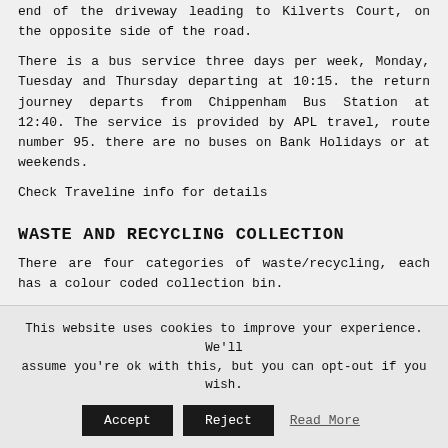end of the driveway leading to Kilverts Court, on the opposite side of the road.
There is a bus service three days per week, Monday, Tuesday and Thursday departing at 10:15. the return journey departs from Chippenham Bus Station at 12:40. The service is provided by APL travel, route number 95. there are no buses on Bank Holidays or at weekends.
Check Traveline info for details
WASTE AND RECYCLING COLLECTION
There are four categories of waste/recycling, each has a colour coded collection bin.
Landfill – green wheelie bin,
This website uses cookies to improve your experience. We'll assume you're ok with this, but you can opt-out if you wish.